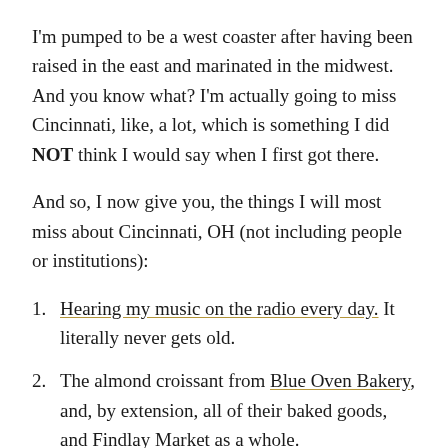I'm pumped to be a west coaster after having been raised in the east and marinated in the midwest. And you know what? I'm actually going to miss Cincinnati, like, a lot, which is something I did NOT think I would say when I first got there.
And so, I now give you, the things I will most miss about Cincinnati, OH (not including people or institutions):
Hearing my music on the radio every day. It literally never gets old.
The almond croissant from Blue Oven Bakery, and, by extension, all of their baked goods, and Findlay Market as a whole.
My vintage 1920's apartment, and the Clifton Gaslight district generally. It's like a page out of a 19th century story